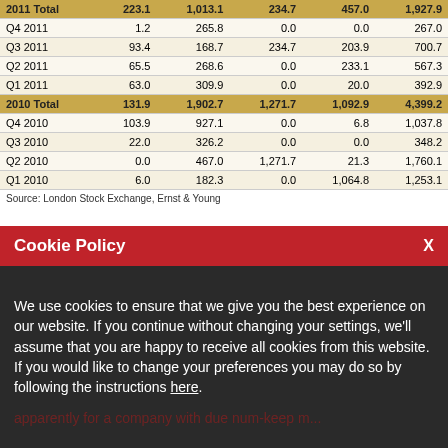|  |  |  |  |  |  |
| --- | --- | --- | --- | --- | --- |
| 2011 Total | 223.1 | 1,013.1 | 234.7 | 457.0 | 1,927.9 |
| Q4 2011 | 1.2 | 265.8 | 0.0 | 0.0 | 267.0 |
| Q3 2011 | 93.4 | 168.7 | 234.7 | 203.9 | 700.7 |
| Q2 2011 | 65.5 | 268.6 | 0.0 | 233.1 | 567.3 |
| Q1 2011 | 63.0 | 309.9 | 0.0 | 20.0 | 392.9 |
| 2010 Total | 131.9 | 1,902.7 | 1,271.7 | 1,092.9 | 4,399.2 |
| Q4 2010 | 103.9 | 927.1 | 0.0 | 6.8 | 1,037.8 |
| Q3 2010 | 22.0 | 326.2 | 0.0 | 0.0 | 348.2 |
| Q2 2010 | 0.0 | 467.0 | 1,271.7 | 21.3 | 1,760.1 |
| Q1 2010 | 6.0 | 182.3 | 0.0 | 1,064.8 | 1,253.1 |
Source: London Stock Exchange, Ernst & Young
Cookie Policy
We use cookies to ensure that we give you the best experience on our website. If you continue without changing your settings, we'll assume that you are happy to receive all cookies from this website. If you would like to change your preferences you may do so by following the instructions here.